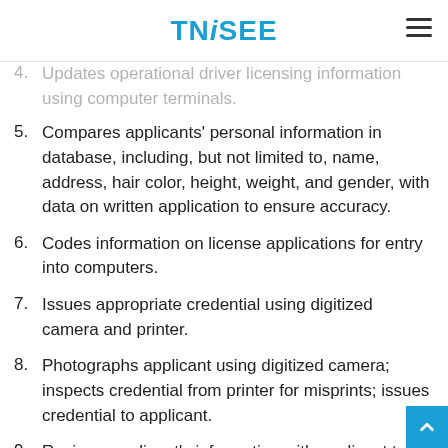TNiSEE
4. Updates operational driver licensing information using computer terminals.
5. Compares applicants' personal information in database, including, but not limited to, name, address, hair color, height, weight, and gender, with data on written application to ensure accuracy.
6. Codes information on license applications for entry into computers.
7. Issues appropriate credential using digitized camera and printer.
8. Photographs applicant using digitized camera; inspects credential from printer for misprints; issues credential to applicant.
9. Reviews applicant's information with applicant to ensure all information is correct, instructs applicant to sign identification and makes confirmation.